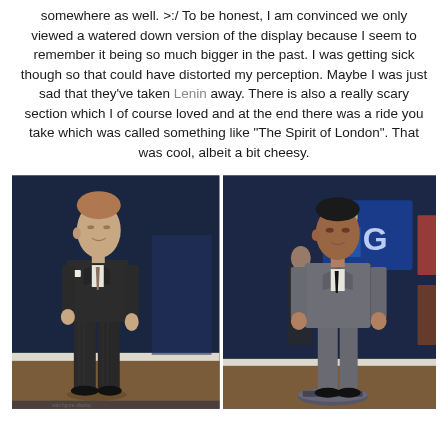somewhere as well. >:/ To be honest, I am convinced we only viewed a watered down version of the display because I seem to remember it being so much bigger in the past. I was getting sick though so that could have distorted my perception. Maybe I was just sad that they've taken Lenin away. There is also a really scary section which I of course loved and at the end there was a ride you take which was called something like "The Spirit of London". That was cool, albeit a bit cheesy.
[Figure (photo): Two wax figures in a museum with dark blue walls. Left figure: a man in a dark pinstripe suit with a white pocket square, light-colored hair. Right figure: a man in a grey suit standing on a circular platform/base, with a display behind showing a woman and a 'G' logo.]